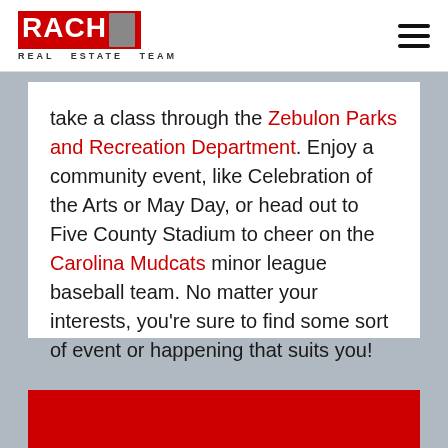RACHM REAL ESTATE TEAM
take a class through the Zebulon Parks and Recreation Department. Enjoy a community event, like Celebration of the Arts or May Day, or head out to Five County Stadium to cheer on the Carolina Mudcats minor league baseball team. No matter your interests, you’re sure to find some sort of event or happening that suits you!
[Figure (other): Red banner at the bottom of the page]